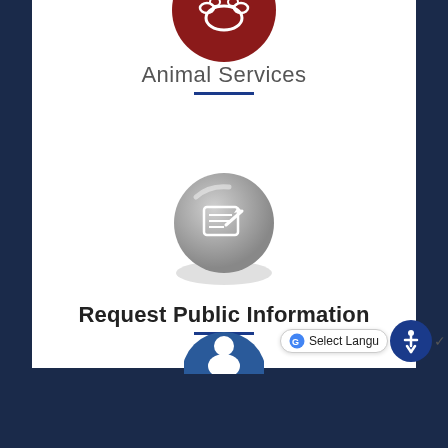[Figure (illustration): Partial view of a red/dark-red circular icon with paw print or animal symbol at the top of the page]
Animal Services
[Figure (illustration): Gray circular button icon with a hand-signing/writing symbol representing public information request]
Request Public Information
[Figure (illustration): Partial blue circular icon visible at very bottom of page]
[Figure (screenshot): Google Translate language selector bar and blue accessibility icon in bottom right corner]